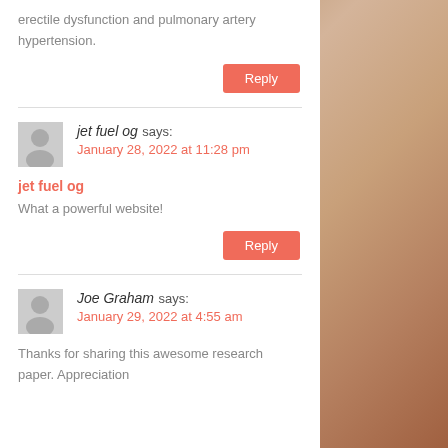erectile dysfunction and pulmonary artery hypertension.
Reply
jet fuel og says:
January 28, 2022 at 11:28 pm
jet fuel og
What a powerful website!
Reply
Joe Graham says:
January 29, 2022 at 4:55 am
Thanks for sharing this awesome research paper. Appreciation